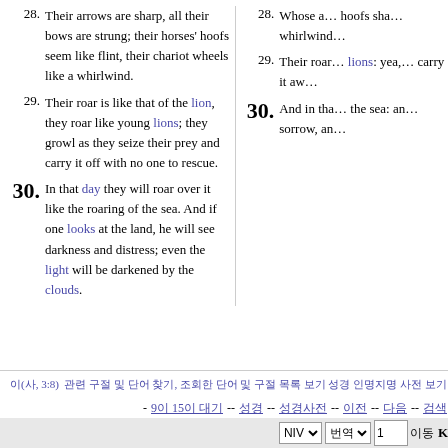28. Their arrows are sharp, all their bows are strung; their horses' hoofs seem like flint, their chariot wheels like a whirlwind.
29. Their roar is like that of the lion, they roar like young lions; they growl as they seize their prey and carry it off with no one to rescue.
30. In that day they will roar over it like the roaring of the sea. And if one looks at the land, he will see darkness and distress; even the light will be darkened by the clouds.
28. Whose arrows are sharp... hoofs shall be like flint... whirlwind.
29. Their roar... lions: yea... carry it away.
30. And in that... the sea: and... sorrow, and...
이(사, 3:8) 관련 구절 및 단어 찾기, 조회한 단어 및 구절 목록 보기 성경 인명지명 사전 보기
- 90 15일 대기 -- 성경 -- 성경사전 -- 이전 -- 다음 -- 검색
NIV 번역 1